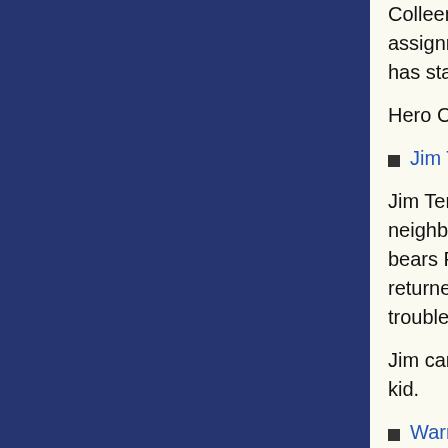Colleen Saramago. I think she'd be happy to give you some assignments dealing with the Clockwork and the Trolls. Hero Corps has stationed Colleen in Steel Canyon.
Hero Corps has a very good information network.
Jim Temblor
Jim Temblor lost his father when the villain Faultline destroyed the neighborhood of Overbrook, turning it into the wasteland that still bears Faultline's name. Now that the city's started to rebuild, Jim's returned to find some answers, but word is he's found a lot of trouble with The Lost instead.
Jim can be a bit tough to get to know, but deep down he's a good kid.
Warren Trudeau
FBI Special Agent Warren Trudeau would like to have a word with you. He's particularly eager to work with new heroes like you in combating the Tsoo and the Council. Agent Trudeau is on special assignment to Skyway City.